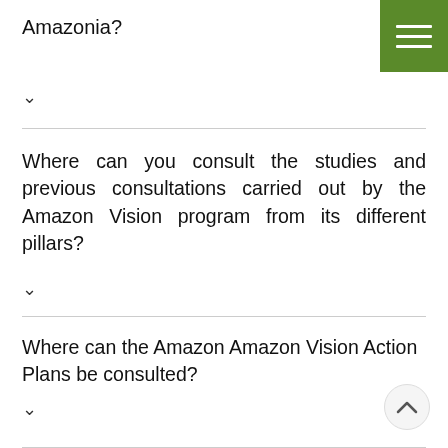Amazonia?
∨
Where can you consult the studies and previous consultations carried out by the Amazon Vision program from its different pillars?
∨
Where can the Amazon Amazon Vision Action Plans be consulted?
∨